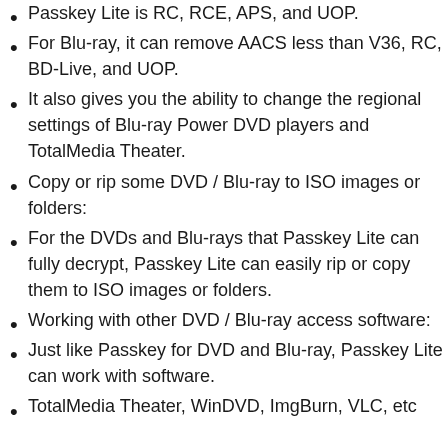Passkey Lite is RC, RCE, APS, and UOP.
For Blu-ray, it can remove AACS less than V36, RC, BD-Live, and UOP.
It also gives you the ability to change the regional settings of Blu-ray Power DVD players and TotalMedia Theater.
Copy or rip some DVD / Blu-ray to ISO images or folders:
For the DVDs and Blu-rays that Passkey Lite can fully decrypt, Passkey Lite can easily rip or copy them to ISO images or folders.
Working with other DVD / Blu-ray access software:
Just like Passkey for DVD and Blu-ray, Passkey Lite can work with software.
TotalMedia Theater, WinDVD, ImgBurn, VLC, etc